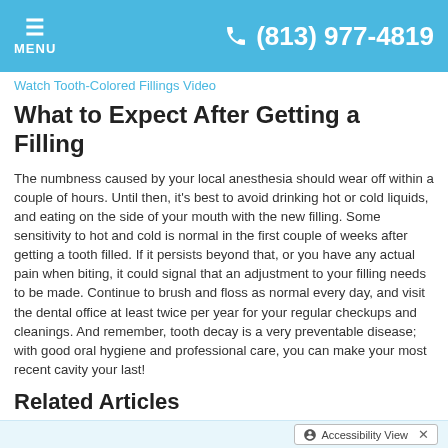≡ MENU   📞 (813) 977-4819
Watch Tooth-Colored Fillings Video
What to Expect After Getting a Filling
The numbness caused by your local anesthesia should wear off within a couple of hours. Until then, it's best to avoid drinking hot or cold liquids, and eating on the side of your mouth with the new filling. Some sensitivity to hot and cold is normal in the first couple of weeks after getting a tooth filled. If it persists beyond that, or you have any actual pain when biting, it could signal that an adjustment to your filling needs to be made. Continue to brush and floss as normal every day, and visit the dental office at least twice per year for your regular checkups and cleanings. And remember, tooth decay is a very preventable disease; with good oral hygiene and professional care, you can make your most recent cavity your last!
Related Articles